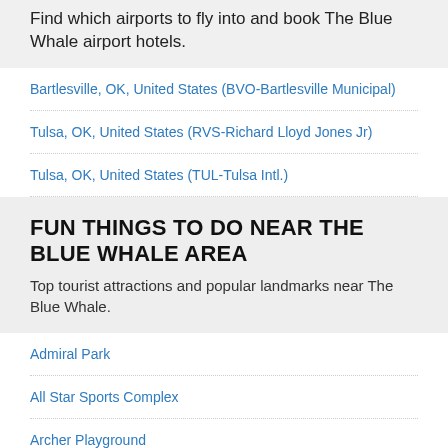Find which airports to fly into and book The Blue Whale airport hotels.
Bartlesville, OK, United States (BVO-Bartlesville Municipal)
Tulsa, OK, United States (RVS-Richard Lloyd Jones Jr)
Tulsa, OK, United States (TUL-Tulsa Intl.)
FUN THINGS TO DO NEAR THE BLUE WHALE AREA
Top tourist attractions and popular landmarks near The Blue Whale.
Admiral Park
All Star Sports Complex
Archer Playground
Arkansas River Historical Society Museum